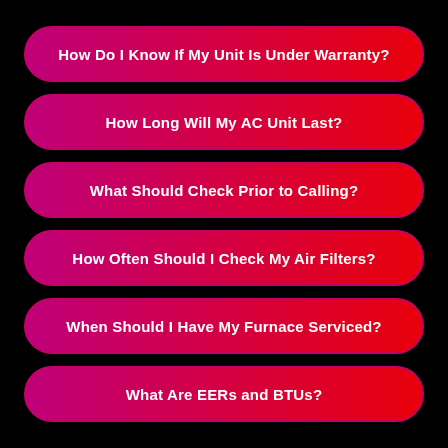How Do I Know If My Unit Is Under Warranty?
How Long Will My AC Unit Last?
What Should Check Prior to Calling?
How Often Should I Check My Air Filters?
When Should I Have My Furnace Serviced?
What Are EERs and BTUs?